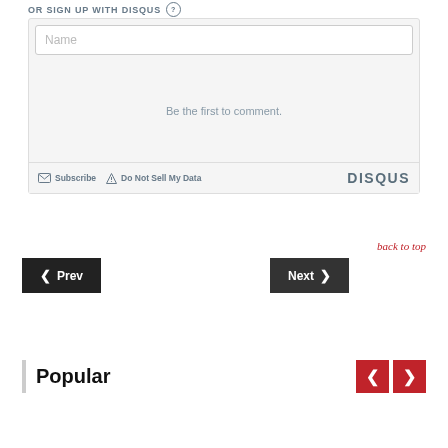OR SIGN UP WITH DISQUS
[Figure (screenshot): Disqus comment widget showing a Name input field and 'Be the first to comment.' placeholder text, with Subscribe and Do Not Sell My Data links and DISQUS logo at bottom]
back to top
Prev
Next
Popular